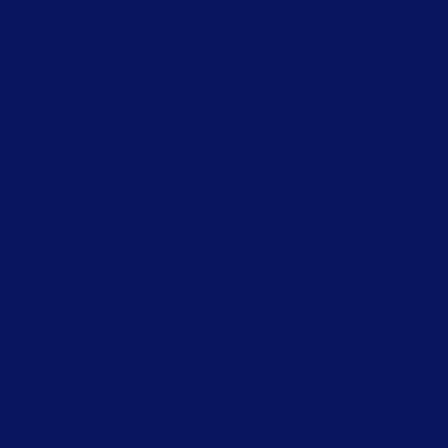[Figure (photo): Photo of group of people on a TV show set — top section]
Marayah talks to Nick... Light and other Guides... also joined by one of h... received from Maraya...
This show is dedicated...
Marayah is a Reiki Ma... Harmonic Practitioner... Masseuse as well as a... Readings. Visit Maray...
[Figure (photo): Photo of two women seated on a show set — Naomi Tamayama section]
Premiered: Wednesday
Self-Healing &
Naomi Tamayama ta... offering holistic meta... the importance of sel... own light.
Naomi is a Healer an... Reiki Healing Crystal... Visit Naomi's website...
[Figure (photo): Empty bordered box placeholder — Sacred Dance section]
Premiered: Wednesday
Sacred Dance
Toks Beverley Coke... monthly moon medita... some Sacred Spiritua... and special guest fl...